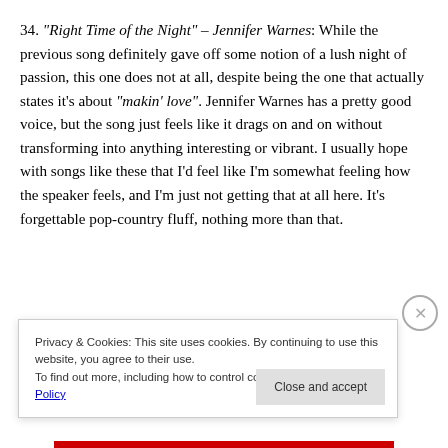34. "Right Time of the Night" – Jennifer Warnes: While the previous song definitely gave off some notion of a lush night of passion, this one does not at all, despite being the one that actually states it's about "makin' love". Jennifer Warnes has a pretty good voice, but the song just feels like it drags on and on without transforming into anything interesting or vibrant. I usually hope with songs like these that I'd feel like I'm somewhat feeling how the speaker feels, and I'm just not getting that at all here. It's forgettable pop-country fluff, nothing more than that.
Privacy & Cookies: This site uses cookies. By continuing to use this website, you agree to their use. To find out more, including how to control cookies, see here: Cookie Policy